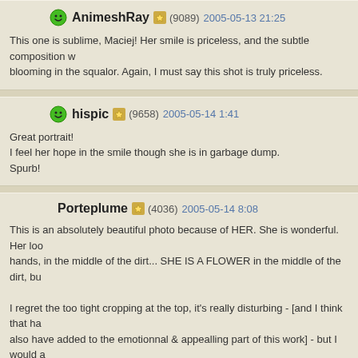AnimeshRay (9089) 2005-05-13 21:25 — This one is sublime, Maciej! Her smile is priceless, and the subtle composition w blooming in the squalor. Again, I must say this shot is truly priceless.
hispic (9658) 2005-05-14 1:41 — Great portrait! I feel her hope in the smile though she is in garbage dump. Spurb!
Porteplume (4036) 2005-05-14 8:08 — This is an absolutely beautiful photo because of HER. She is wonderful. Her loo hands, in the middle of the dirt... SHE IS A FLOWER in the middle of the dirt, bu I regret the too tight cropping at the top, it's really disturbing - [and I think that ha also have added to the emotionnal & appealling part of this work] - but I would a left.
kourosh (2346) 2005-05-17 9:56